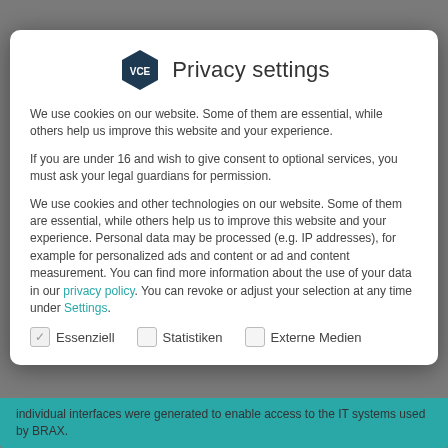VCE Privacy settings
We use cookies on our website. Some of them are essential, while others help us improve this website and your experience.
If you are under 16 and wish to give consent to optional services, you must ask your legal guardians for permission.
We use cookies and other technologies on our website. Some of them are essential, while others help us to improve this website and your experience. Personal data may be processed (e.g. IP addresses), for example for personalized ads and content or ad and content measurement. You can find more information about the use of your data in our privacy policy. You can revoke or adjust your selection at any time under Settings.
✓ Essenziell
□ Statistiken
□ Externe Medien
Individual interfaces were generated to enable access to the IT systems used by BRAX.